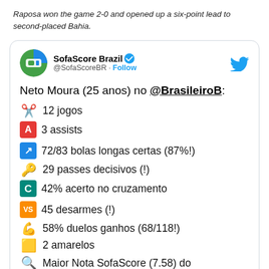Raposa won the game 2-0 and opened up a six-point lead to second-placed Bahia.
[Figure (screenshot): Embedded tweet from SofaScore Brazil (@SofaScoreBR) listing Neto Moura's (25 anos) stats in @BrasileiroB: 12 jogos, 3 assists, 72/83 bolas longas certas (87%!), 29 passes decisivos (!), 42% acerto no cruzamento, 45 desarmes (!), 58% duelos ganhos (68/118!), 2 amarelos, Maior Nota SofaScore (7.58) do]
Neto Moura (25 anos) no @BrasileiroB:
12 jogos
3 assists
72/83 bolas longas certas (87%!)
29 passes decisivos (!)
42% acerto no cruzamento
45 desarmes (!)
58% duelos ganhos (68/118!)
2 amarelos
Maior Nota SofaScore (7.58) do